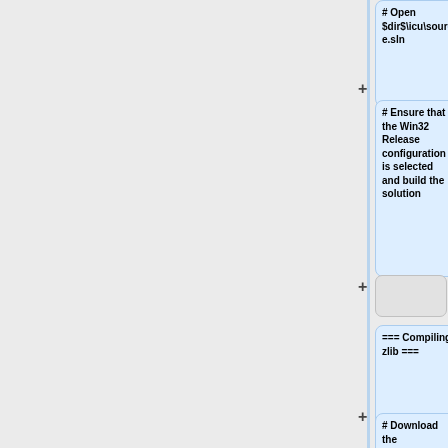[Figure (flowchart): Flowchart showing wiki/build steps: nodes include '# Open $dir$\icu\source\allinone\allinone.sln', '# Ensure that the Win32 Release configuration is selected and build the solution', empty grey boxes, '# Download the latest release of [http://crosswire.org/ftpmirror/pub/sword/source/icu-sword/ icu-sword]', '=== Compiling zlib ===', '# Extract the', '# Download the'. Nodes connected by + and - symbols on a vertical blue line.]